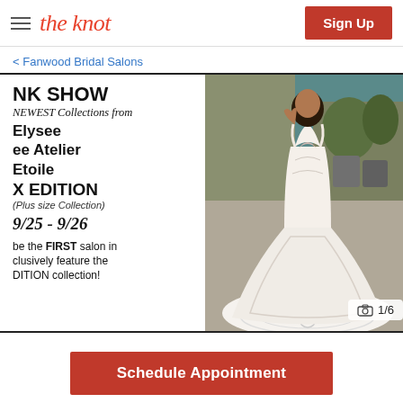the knot | Sign Up
< Fanwood Bridal Salons
[Figure (screenshot): Bridal salon promotional image with text panel on left showing 'NK SHOW, NEWEST Collections from, Elysee, ee Atelier, Etoile, X EDITION (Plus Size Collection), 9/25 - 9/26, be the FIRST salon in exclusively feature the DITION collection!' and a photo of a model wearing a mermaid lace wedding dress with a long train, viewed from behind. Camera icon with '1/6' badge in lower right corner.]
Schedule Appointment